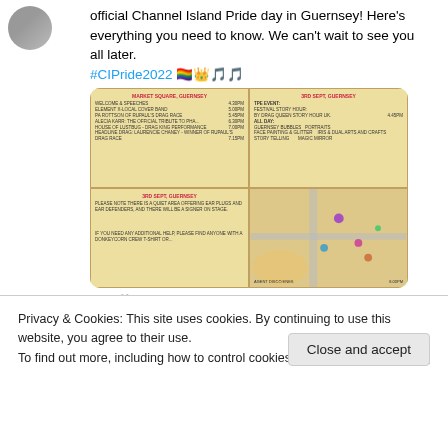official Channel Island Pride day in Guernsey! Here's everything you need to know. We can't wait to see you all later. #CIPride2022 🏳️‍🌈👑🎵🎵
[Figure (infographic): Event schedule for Channel Island Pride, Market Square Guernsey and 3rd Sept Guernsey, with a map showing event locations. 2x2 grid layout with schedule text and illustrated map.]
♡ 6
Privacy & Cookies: This site uses cookies. By continuing to use this website, you agree to their use.
To find out more, including how to control cookies, see here: Cookie Policy
Close and accept